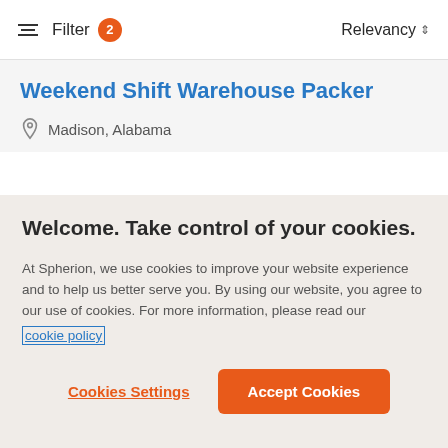Filter 2  Relevancy
Weekend Shift Warehouse Packer
Madison, Alabama
Welcome. Take control of your cookies.
At Spherion, we use cookies to improve your website experience and to help us better serve you. By using our website, you agree to our use of cookies. For more information, please read our cookie policy
Cookies Settings
Accept Cookies